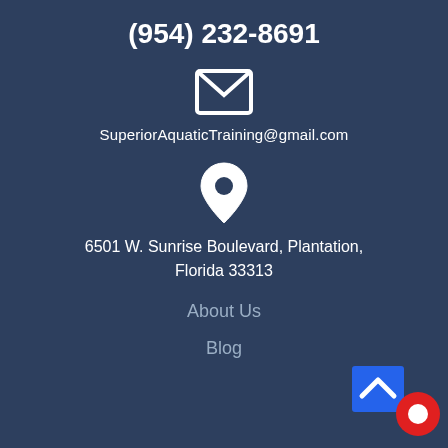(954) 232-8691
[Figure (illustration): Envelope/email icon in white outline style]
SuperiorAquaticTraining@gmail.com
[Figure (illustration): Location pin/map marker icon in white]
6501 W. Sunrise Boulevard, Plantation, Florida 33313
About Us
Blog
[Figure (illustration): Blue back-to-top button with upward chevron and red chat bubble icon in bottom right corner]